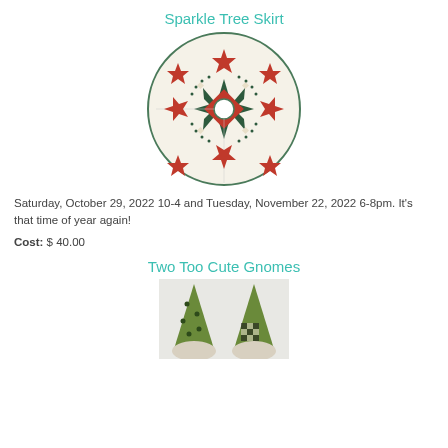Sparkle Tree Skirt
[Figure (photo): Circular quilted tree skirt with red and green star pattern on cream background]
Saturday, October 29, 2022 10-4 and Tuesday, November 22, 2022 6-8pm. It's that time of year again!
Cost: $ 40.00
Two Too Cute Gnomes
[Figure (photo): Two small gnome figures with pointed hats in green and black/white fabric]